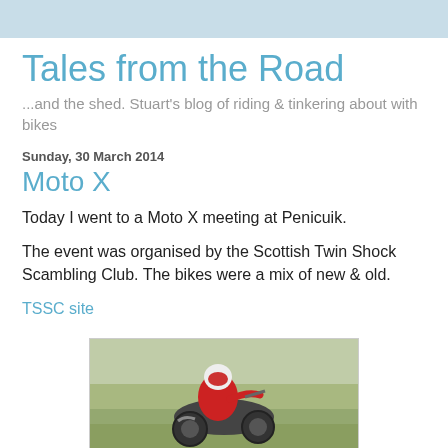Tales from the Road
...and the shed. Stuart's blog of riding & tinkering about with bikes
Sunday, 30 March 2014
Moto X
Today I went to a Moto X meeting at Penicuik.
The event was organised by the Scottish Twin Shock Scambling Club. The bikes were a mix of new & old.
TSSC site
[Figure (photo): A motocross rider in red gear on a bike riding over rough ground at Penicuik Moto X meeting]